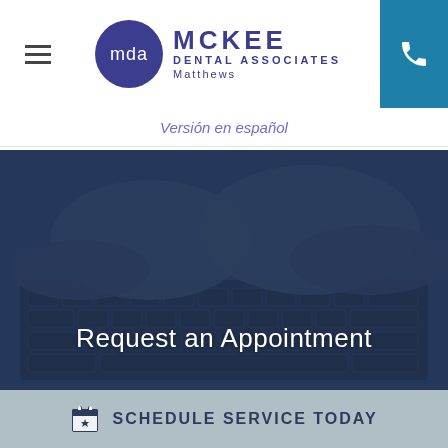[Figure (logo): McKee Dental Associates Matthews logo with circular MDA badge in dark purple]
Versión en español
[Figure (photo): Person's hands typing on a laptop keyboard, dark blue overlay tint, with heading 'Request an Appointment']
Request an Appointment
SCHEDULE SERVICE TODAY